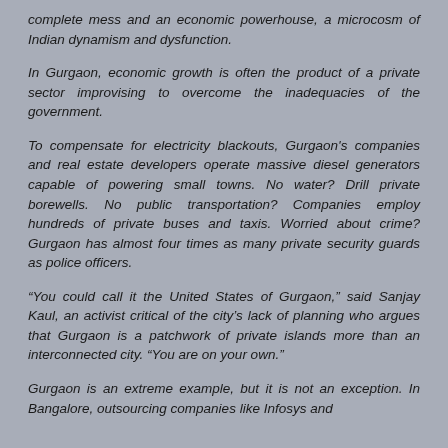complete mess and an economic powerhouse, a microcosm of Indian dynamism and dysfunction.
In Gurgaon, economic growth is often the product of a private sector improvising to overcome the inadequacies of the government.
To compensate for electricity blackouts, Gurgaon's companies and real estate developers operate massive diesel generators capable of powering small towns. No water? Drill private borewells. No public transportation? Companies employ hundreds of private buses and taxis. Worried about crime? Gurgaon has almost four times as many private security guards as police officers.
“You could call it the United States of Gurgaon,” said Sanjay Kaul, an activist critical of the city’s lack of planning who argues that Gurgaon is a patchwork of private islands more than an interconnected city. “You are on your own.”
Gurgaon is an extreme example, but it is not an exception. In Bangalore, outsourcing companies like Infosys and